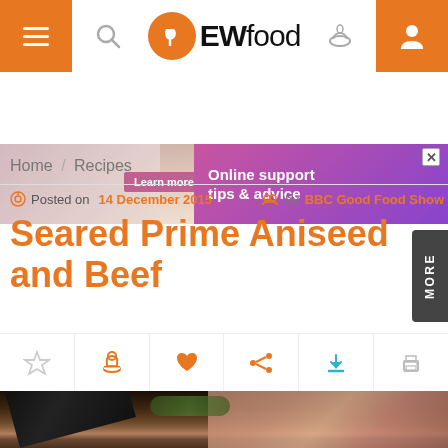[Figure (screenshot): Navigation bar with hamburger menu, search icon, EWfood logo, bowl icon, and user profile icon on orange background]
[Figure (infographic): Advertisement banner with woman photo, Learn more button, and Online support tips & advice text on purple/pink gradient]
Home / Recipes
Posted on 14 December 2015   by BBC Good Food Show
Seared Prime Aniseed and Beef
[Figure (illustration): Action bar with star, chef hat, heart, share, download, and print icons]
[Figure (photo): Close-up photo of seared beef with knife and rosemary on wooden surface]